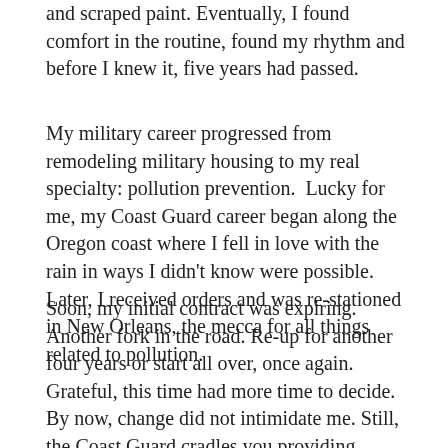and scraped paint. Eventually, I found comfort in the routine, found my rhythm and before I knew it, five years had passed.
My military career progressed from remodeling military housing to my real specialty: pollution prevention.  Lucky for me, my Coast Guard career began along the Oregon coast where I fell in love with the rain in ways I didn't know were possible. Later, I received orders and was re-stationed in New Orleans, the mecca for all things related to pollution.
Soon, my initial contract was expiring. Another fork in the road. Re-up for another four years or start all over, once again.  Grateful, this time had more time to decide. By now, change did not intimidate me. Still, the Coast Guard cradles you providing almost everything a person might may need; medical, dental, financial help, legal advice, work-life balance assistance, career development, emergency zero-interest personal